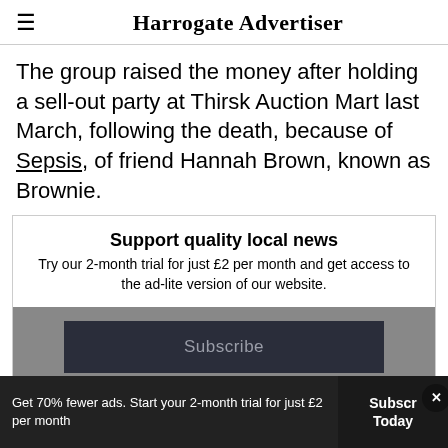Harrogate Advertiser
The group raised the money after holding a sell-out party at Thirsk Auction Mart last March, following the death, because of Sepsis, of friend Hannah Brown, known as Brownie.
Support quality local news
Try our 2-month trial for just £2 per month and get access to the ad-lite version of our website.
Subscribe
Get 70% fewer ads. Start your 2-month trial for just £2 per month
Subscribe Today